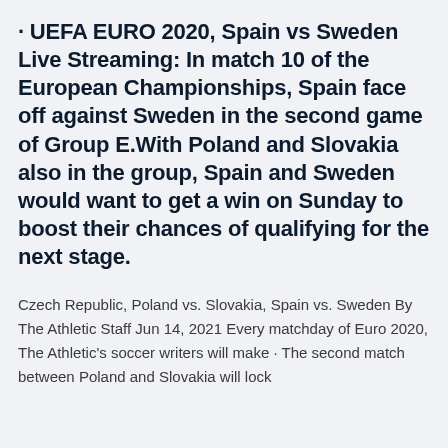· UEFA EURO 2020, Spain vs Sweden Live Streaming: In match 10 of the European Championships, Spain face off against Sweden in the second game of Group E.With Poland and Slovakia also in the group, Spain and Sweden would want to get a win on Sunday to boost their chances of qualifying for the next stage.
Czech Republic, Poland vs. Slovakia, Spain vs. Sweden By The Athletic Staff Jun 14, 2021 Every matchday of Euro 2020, The Athletic's soccer writers will make · The second match between Poland and Slovakia will lock